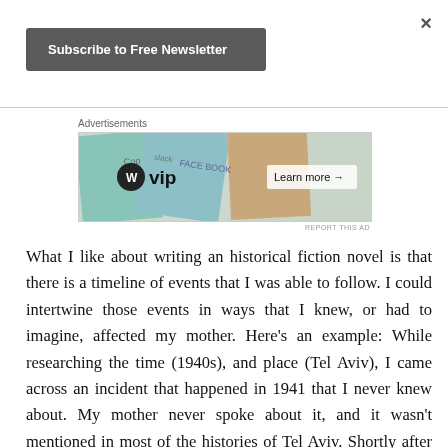×
Subscribe to Free Newsletter
[Figure (other): Advertisement banner showing WordPress VIP logo with Slack and Facebook branded cards, and a 'Learn more →' button]
Advertisements
REPORT THIS AD
What I like about writing an historical fiction novel is that there is a timeline of events that I was able to follow. I could intertwine those events in ways that I knew, or had to imagine, affected my mother. Here's an example: While researching the time (1940s), and place (Tel Aviv), I came across an incident that happened in 1941 that I never knew about. My mother never spoke about it, and it wasn't mentioned in most of the histories of Tel Aviv. Shortly after the Italians entered WWII, an squadron of Italian planes dropped bombs on my mother's neighborhood killing 137